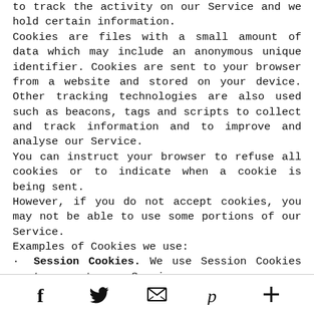to track the activity on our Service and we hold certain information.
Cookies are files with a small amount of data which may include an anonymous unique identifier. Cookies are sent to your browser from a website and stored on your device. Other tracking technologies are also used such as beacons, tags and scripts to collect and track information and to improve and analyse our Service.
You can instruct your browser to refuse all cookies or to indicate when a cookie is being sent.
However, if you do not accept cookies, you may not be able to use some portions of our Service.
Examples of Cookies we use:
Session Cookies. We use Session Cookies to operate our Service.
Preference Cookies. We use Preference Cookies to remember your preferences and various settings.
Security Cookies. We use Security Cookies for
Social media icons: facebook, twitter, email, pinterest, plus